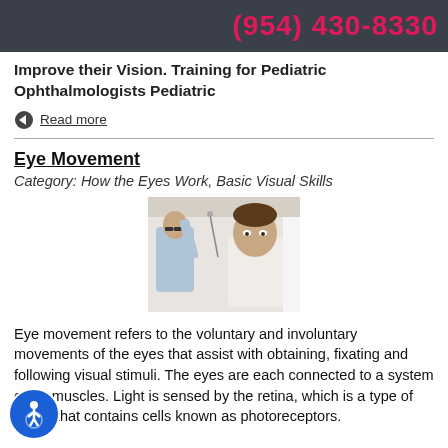(954) 430-8330
Improve their Vision. Training for Pediatric Ophthalmologists Pediatric
Read more
Eye Movement
Category: How the Eyes Work, Basic Visual Skills
[Figure (photo): Doctor performing eye movement test on patient — clinician holding instrument near patient's head while patient looks forward]
Eye movement refers to the voluntary and involuntary movements of the eyes that assist with obtaining, fixating and following visual stimuli. The eyes are each connected to a system of six muscles. Light is sensed by the retina, which is a type of tissue that contains cells known as photoreceptors.